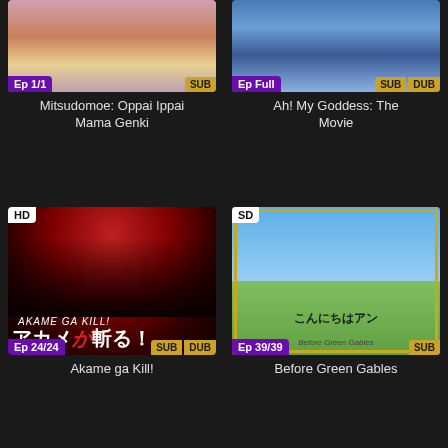[Figure (illustration): Anime thumbnail for Mitsudomoe: Oppai Ippai Mama Genki with Ep 1/1 badge and SUB badge]
Mitsudomoe: Oppai Ippai Mama Genki
[Figure (illustration): Anime thumbnail for Ah! My Goddess: The Movie with Ep Full badge and SUB DUB badges]
Ah! My Goddess: The Movie
[Figure (illustration): Anime thumbnail for Akame ga Kill! with HD badge, Ep 24/24 badge, SUB DUB badges]
Akame ga Kill!
[Figure (illustration): Anime thumbnail for Before Green Gables with SD badge, Ep 39/39 badge, SUB badge]
Before Green Gables